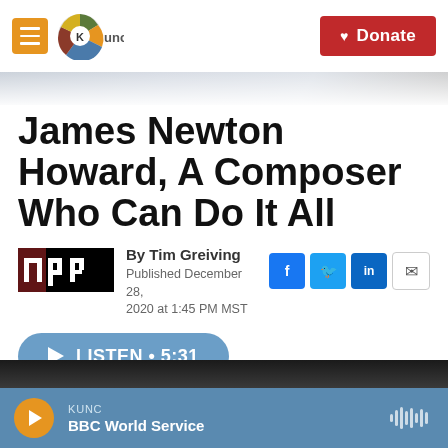KUNC | Donate
James Newton Howard, A Composer Who Can Do It All
By Tim Greiving
Published December 28, 2020 at 1:45 PM MST
[Figure (other): Listen audio player button: LISTEN • 5:31]
[Figure (other): Bottom of page with dark image strip and KUNC BBC World Service audio player bar]